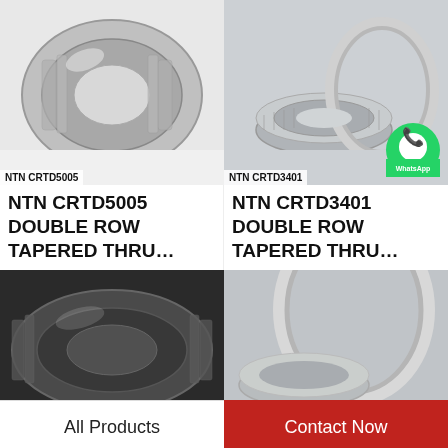[Figure (photo): NTN CRTD5005 double row tapered thrust bearing, silver metallic, on white background]
NTN CRTD5005
[Figure (photo): NTN CRTD3401 double row tapered thrust bearing components disassembled, silver metallic, on grey background. WhatsApp Online badge overlay.]
NTN CRTD3401
NTN CRTD5005 DOUBLE ROW TAPERED THRU...
NTN CRTD3401 DOUBLE ROW TAPERED THRU...
[Figure (photo): Dark metallic double row tapered bearing on dark background, partial view]
[Figure (photo): Silver tapered bearing components on grey background, partial view]
All Products
Contact Now